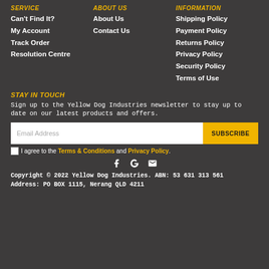SERVICE
Can't Find It?
My Account
Track Order
Resolution Centre
ABOUT US
About Us
Contact Us
INFORMATION
Shipping Policy
Payment Policy
Returns Policy
Privacy Policy
Security Policy
Terms of Use
STAY IN TOUCH
Sign up to the Yellow Dog Industries newsletter to stay up to date on our latest products and offers.
Email Address | SUBSCRIBE
I agree to the Terms & Conditions and Privacy Policy.
Copyright © 2022 Yellow Dog Industries. ABN: 53 631 313 561 Address: PO BOX 1115, Nerang QLD 4211